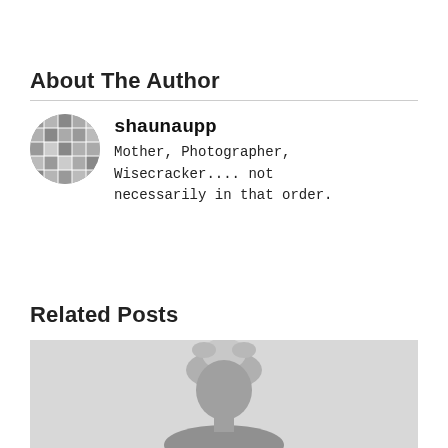About The Author
[Figure (photo): Circular avatar photo showing a collage of small portrait images arranged in a grid, appearing as a profile picture for user shaunaupp]
shaunaupp
Mother, Photographer, Wisecracker.... not necessarily in that order.
Related Posts
[Figure (photo): Black and white photograph of a person wearing a wrapped head covering/turban, shown from approximately the shoulders up]